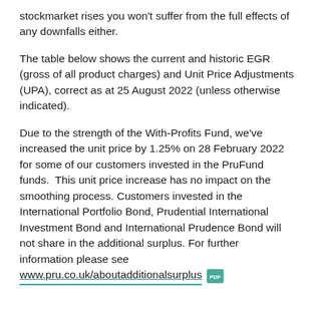stockmarket rises you won't suffer from the full effects of any downfalls either.
The table below shows the current and historic EGR (gross of all product charges) and Unit Price Adjustments (UPA), correct as at 25 August 2022 (unless otherwise indicated).
Due to the strength of the With-Profits Fund, we've increased the unit price by 1.25% on 28 February 2022 for some of our customers invested in the PruFund funds.  This unit price increase has no impact on the smoothing process. Customers invested in the International Portfolio Bond, Prudential International Investment Bond and International Prudence Bond will not share in the additional surplus. For further information please see www.pru.co.uk/aboutadditionalsurplus